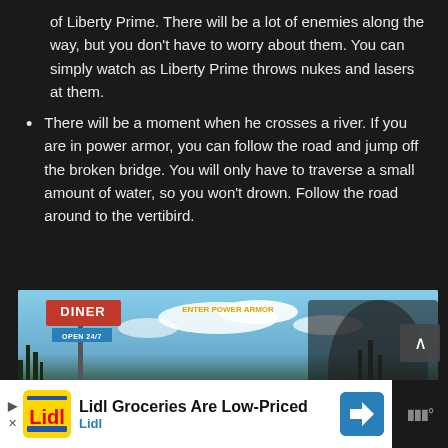of Liberty Prime. There will be a lot of enemies along the way, but you don't have to worry about them. You can simply watch as Liberty Prime throws nukes and lasers at them.
There will be a moment when he crosses a river. If you are in power armor, you can follow the road and jump off the broken bridge. You will only have to traverse a small amount of water, so you won't drown. Follow the road around to the vertibird.
[Figure (screenshot): Screenshot from Fallout 4 showing Liberty Prime walking past a Diner sign (OPEN 24/7) with an explosion effect in the background.]
Lidl Groceries Are Low-Priced Lidl